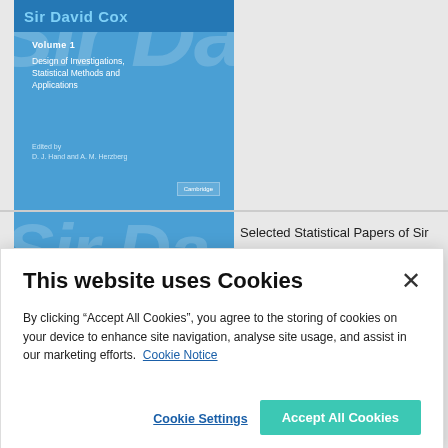[Figure (photo): Blue book cover showing 'Sir David Cox, Volume 1, Design of Investigations, Statistical Methods and Applications', edited by D. J. Hand and A. M. Herzberg, Cambridge University Press]
[Figure (photo): Partial view of a second blue book cover (cropped at bottom)]
Selected Statistical Papers of Sir
This website uses Cookies
By clicking “Accept All Cookies”, you agree to the storing of cookies on your device to enhance site navigation, analyse site usage, and assist in our marketing efforts. Cookie Notice
Cookie Settings
Accept All Cookies